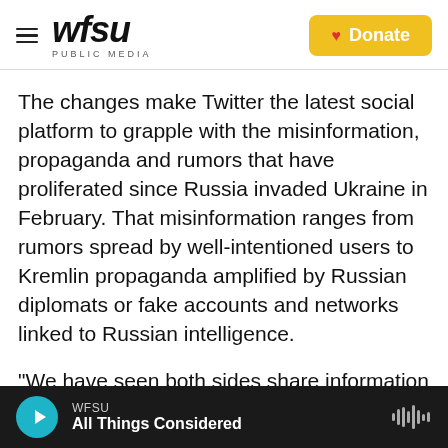WFSU PUBLIC MEDIA | Donate
The changes make Twitter the latest social platform to grapple with the misinformation, propaganda and rumors that have proliferated since Russia invaded Ukraine in February. That misinformation ranges from rumors spread by well-intentioned users to Kremlin propaganda amplified by Russian diplomats or fake accounts and networks linked to Russian intelligence.
"We have seen both sides share information that may be misleading and/or deceptive," said Yoel Roth, Twitter's head of safety and integrity, who detailed the new policy for reporters. "Our policy
WFSU — All Things Considered